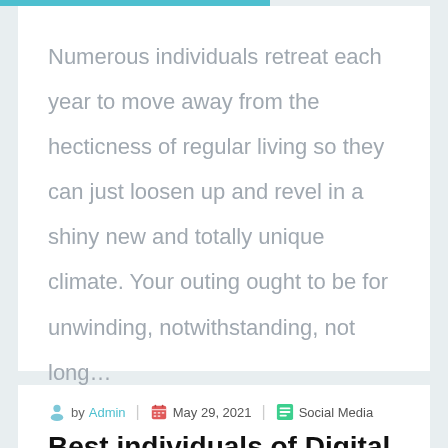Numerous individuals retreat each year to move away from the hecticness of regular living so they can just loosen up and revel in a shiny new and totally unique climate. Your outing ought to be for unwinding, notwithstanding, not long…
by Admin | May 29, 2021 | Social Media
Best individuals of Digital marketing company